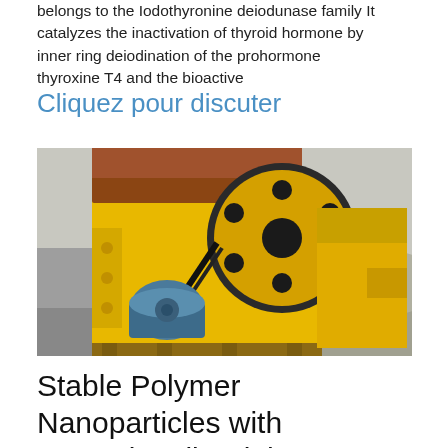belongs to the Iodothyronine deiodunase family It catalyzes the inactivation of thyroid hormone by inner ring deiodination of the prohormone thyroxine T4 and the bioactive
Cliquez pour discuter
[Figure (photo): Yellow industrial jaw crusher machine with large flywheel and belt drive, blue electric motor attached, outdoors on a concrete pad with hilly background.]
Stable Polymer Nanoparticles with Exceptionally High Drug